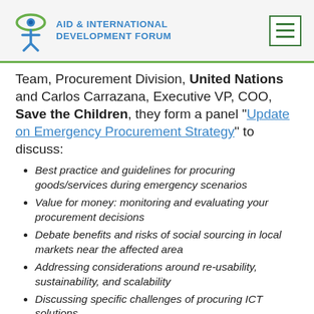AID & INTERNATIONAL DEVELOPMENT FORUM
Team, Procurement Division, United Nations and Carlos Carrazana, Executive VP, COO, Save the Children, they form a panel "Update on Emergency Procurement Strategy" to discuss:
Best practice and guidelines for procuring goods/services during emergency scenarios
Value for money: monitoring and evaluating your procurement decisions
Debate benefits and risks of social sourcing in local markets near the affected area
Addressing considerations around re-usability, sustainability, and scalability
Discussing specific challenges of procuring ICT solutions
How to improve coordination/relationships among procurement...